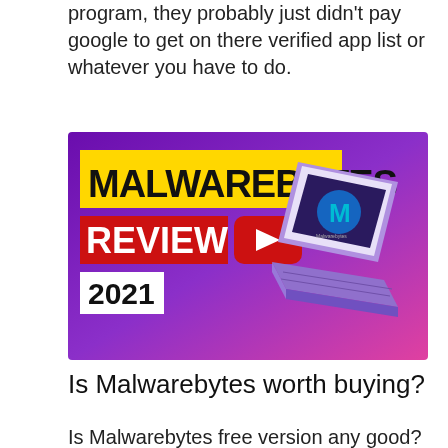program, they probably just didn't pay google to get on there verified app list or whatever you have to do.
[Figure (screenshot): Malwarebytes Review 2021 YouTube thumbnail with purple/pink gradient background, yellow banner with MALWAREBYTES in black text, red REVIEW banner with YouTube play button, 2021 in black box, and laptop showing Malwarebytes logo on screen]
Is Malwarebytes worth buying?
Is Malwarebytes free version any good? Yes. It is a good tool for scanning your device